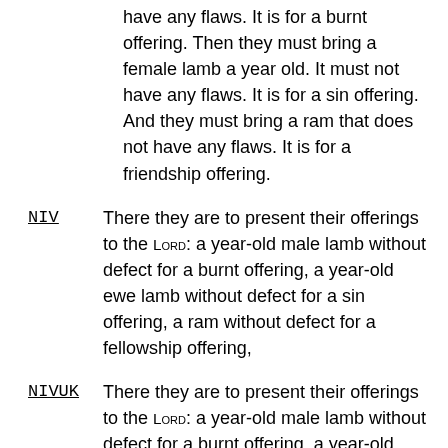have any flaws. It is for a burnt offering. Then they must bring a female lamb a year old. It must not have any flaws. It is for a sin offering. And they must bring a ram that does not have any flaws. It is for a friendship offering.
NIV  There they are to present their offerings to the LORD: a year-old male lamb without defect for a burnt offering, a year-old ewe lamb without defect for a sin offering, a ram without defect for a fellowship offering,
NIVUK  There they are to present their offerings to the LORD: a year-old male lamb without defect for a burnt offering, a year-old ewe lamb without defect for a sin offering, a ram without defect for a fellowship